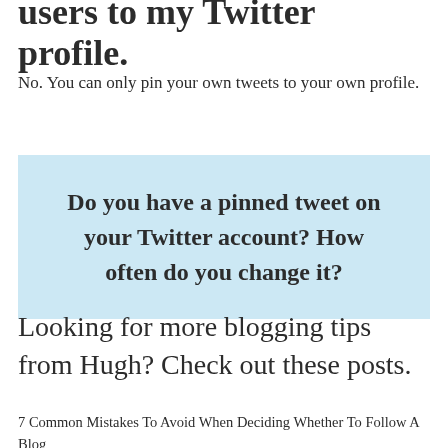users to my Twitter profile.
No. You can only pin your own tweets to your own profile.
Do you have a pinned tweet on your Twitter account? How often do you change it?
Looking for more blogging tips from Hugh? Check out these posts.
7 Common Mistakes To Avoid When Deciding Whether To Follow A Blog